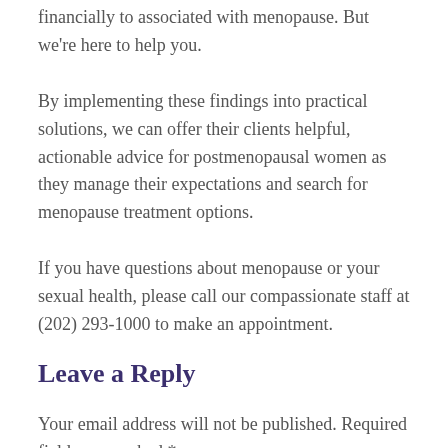financially to associated with menopause. But we're here to help you.
By implementing these findings into practical solutions, we can offer their clients helpful, actionable advice for postmenopausal women as they manage their expectations and search for menopause treatment options.
If you have questions about menopause or your sexual health, please call our compassionate staff at (202) 293-1000 to make an appointment.
Leave a Reply
Your email address will not be published. Required fields are marked *
Comment *